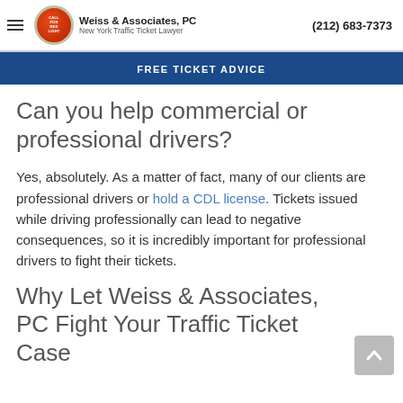Weiss & Associates, PC — New York Traffic Ticket Lawyer — (212) 683-7373
FREE TICKET ADVICE
Can you help commercial or professional drivers?
Yes, absolutely. As a matter of fact, many of our clients are professional drivers or hold a CDL license. Tickets issued while driving professionally can lead to negative consequences, so it is incredibly important for professional drivers to fight their tickets.
Why Let Weiss & Associates, PC Fight Your Traffic Ticket Case